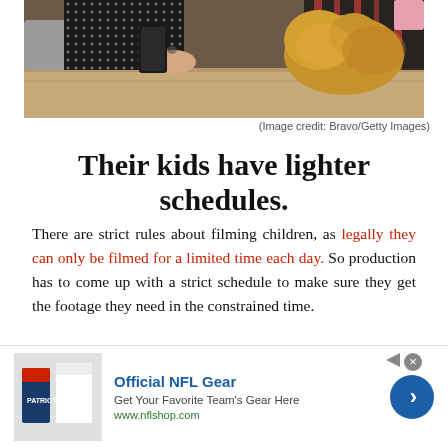[Figure (photo): Photo of people at a table with a fluffy dog, cropped to show hands, a bracelet, and a striped outfit, with a wooden table surface and upholstered chair in the background.]
(Image credit: Bravo/Getty Images)
Their kids have lighter schedules.
There are strict rules about filming children, as legally they can only be filmed for a limited time each day. So production has to come up with a strict schedule to make sure they get the footage they need in the constrained time.
[Figure (other): Advertisement banner for Official NFL Gear showing NFL jerseys image, 'Official NFL Gear' title in blue, 'Get Your Favorite Team's Gear Here' subtitle, 'www.nflshop.com' URL in green, and a blue circular arrow button.]